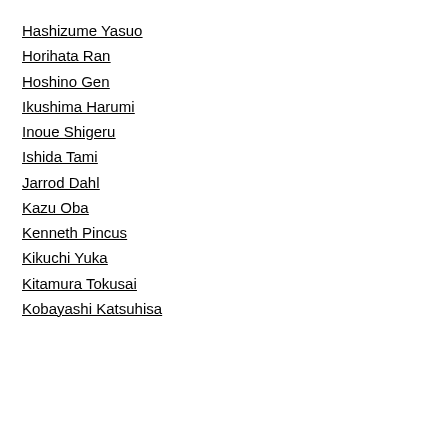Hashizume Yasuo
Horihata Ran
Hoshino Gen
Ikushima Harumi
Inoue Shigeru
Ishida Tami
Jarrod Dahl
Kazu Oba
Kenneth Pincus
Kikuchi Yuka
Kitamura Tokusai
Kobayashi Katsuhisa